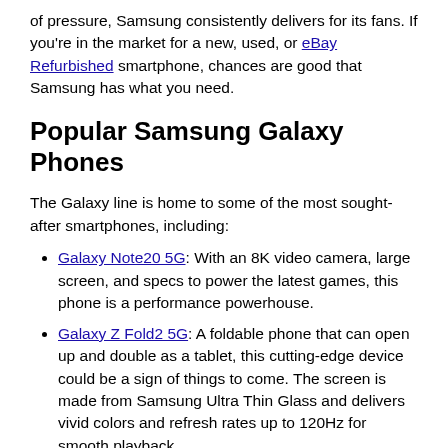of pressure, Samsung consistently delivers for its fans. If you're in the market for a new, used, or eBay Refurbished smartphone, chances are good that Samsung has what you need.
Popular Samsung Galaxy Phones
The Galaxy line is home to some of the most sought-after smartphones, including:
Galaxy Note20 5G: With an 8K video camera, large screen, and specs to power the latest games, this phone is a performance powerhouse.
Galaxy Z Fold2 5G: A foldable phone that can open up and double as a tablet, this cutting-edge device could be a sign of things to come. The screen is made from Samsung Ultra Thin Glass and delivers vivid colors and refresh rates up to 120Hz for smooth playback.
Galaxy S21 Ultra 5G: A blazing-fast processor, long-lasting battery, and 8K video recording are just some of the features that have people excited for this Galaxy phone.
Galaxy Z Flip: While it may resemble the clamshell phones of the past, the 6.7-inch foldable screen and